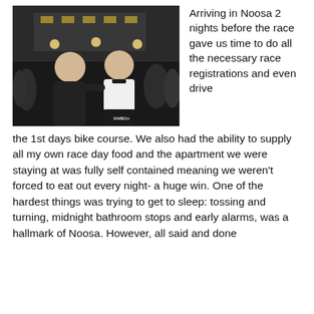[Figure (photo): Two men posing together at night outdoors with a crowd and lit building in the background. One is wearing a black jacket, the other a white cycling kit with 'Dare2Tri' text at the bottom.]
Arriving in Noosa 2 nights before the race gave us time to do all the necessary race registrations and even drive the 1st days bike course. We also had the ability to supply all my own race day food and the apartment we were staying at was fully self contained meaning we weren't forced to eat out every night- a huge win. One of the hardest things was trying to get to sleep: tossing and turning, midnight bathroom stops and early alarms, was a hallmark of Noosa. However, all said and done